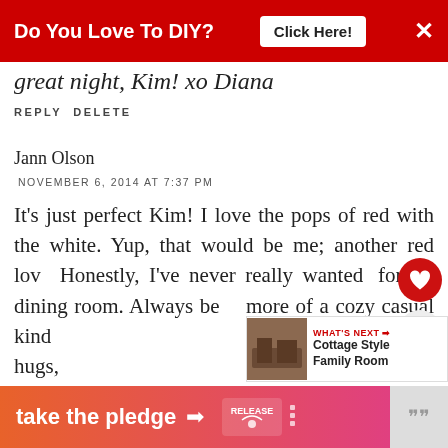[Figure (screenshot): Red ad banner at top: 'Do You Love To DIY? Click Here!' with close button]
great night, Kim! xo Diana
REPLY DELETE
Jann Olson
NOVEMBER 6, 2014 AT 7:37 PM
It's just perfect Kim! I love the pops of red with the white. Yup, that would be me; another red lov... Honestly, I've never really wanted... formal dining room. Always be... more of a cozy casual kind ... hugs,
Jann
[Figure (screenshot): WHAT'S NEXT banner with thumbnail: Cottage Style Family Room]
[Figure (screenshot): Bottom ad banner: take the pledge with RELEASE logo]